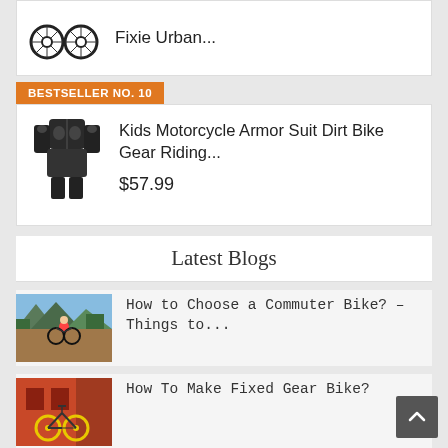[Figure (photo): Partial view of a bicycle wheel (Fixie Urban product image)]
Fixie Urban...
BESTSELLER NO. 10
[Figure (photo): Kids motorcycle armor suit dirt bike gear riding protective vest]
Kids Motorcycle Armor Suit Dirt Bike Gear Riding...
$57.99
Latest Blogs
[Figure (photo): Woman riding a mountain bike on a dirt trail with mountains in background]
How to Choose a Commuter Bike? – Things to...
[Figure (photo): Fixed gear bike with yellow wheels leaning against a red building]
How To Make Fixed Gear Bike?